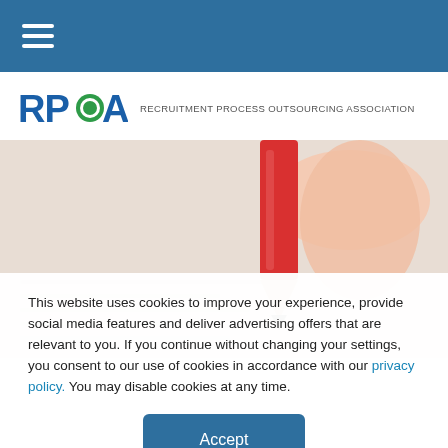Navigation bar with hamburger menu
[Figure (logo): RPOA logo with globe icon and text RECRUITMENT PROCESS OUTSOURCING ASSOCIATION]
[Figure (photo): Close-up photo of a hand holding a red pencil over documents]
This website uses cookies to improve your experience, provide social media features and deliver advertising offers that are relevant to you. If you continue without changing your settings, you consent to our use of cookies in accordance with our privacy policy. You may disable cookies at any time.
Accept